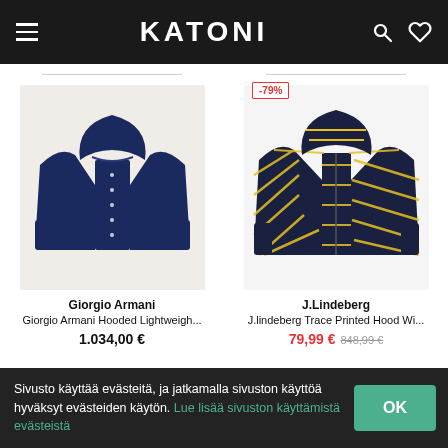KATONI
[Figure (photo): Giorgio Armani navy blue hooded lightweight jacket on light background]
[Figure (photo): J.Lindeberg navy and yellow printed hooded windbreaker jacket with -79% discount badge]
Giorgio Armani
Giorgio Armani Hooded Lightweigh...
1.034,00 €
J.Lindeberg
J.lindeberg Trace Printed Hood Wi...
79,99 € 848,99 €
Sivusto käyttää evästeitä, ja jatkamalla sivuston käyttöä hyväksyt evästeiden käytön. Lue lisää sivuston käyttämistä evästeistä